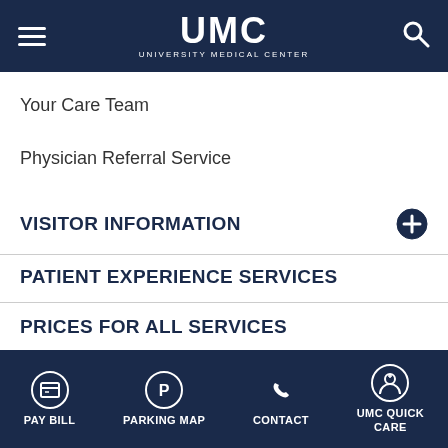UMC UNIVERSITY MEDICAL CENTER
Your Care Team
Physician Referral Service
VISITOR INFORMATION
PATIENT EXPERIENCE SERVICES
PRICES FOR ALL SERVICES
QUALITY & SAFETY
PAY BILL | PARKING MAP | CONTACT | UMC QUICK CARE